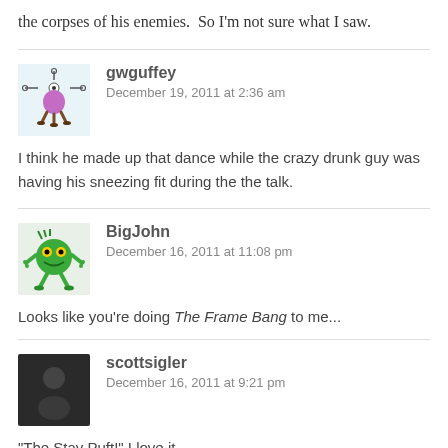the corpses of his enemies.  So I'm not sure what I saw.
gwguffey
December 19, 2011 at 2:36 am

I think he made up that dance while the crazy drunk guy was having his sneezing fit during the the talk.
BigJohn
December 16, 2011 at 11:08 pm

Looks like you're doing The Frame Bang to me...
scottsigler
December 16, 2011 at 9:21 pm

"The Stay Puft!" I love it.